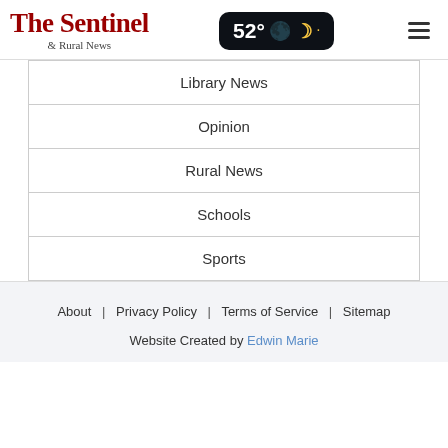The Sentinel & Rural News — 52° weather, hamburger menu
Library News
Opinion
Rural News
Schools
Sports
About | Privacy Policy | Terms of Service | Sitemap
Website Created by Edwin Marie